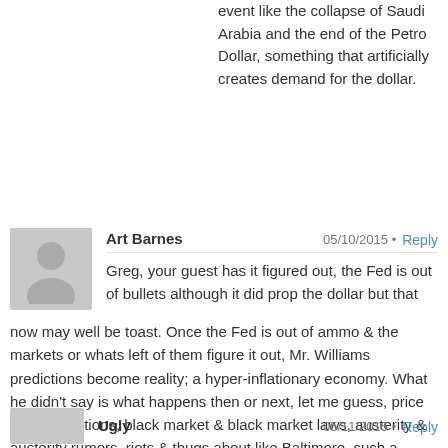event like the collapse of Saudi Arabia and the end of the Petro Dollar, something that artificially creates demand for the dollar.
Art Barnes  05/10/2015 • Reply
Greg, your guest has it figured out, the Fed is out of bullets although it did prop the dollar but that now may well be toast. Once the Fed is out of ammo & the markets or whats left of them figure it out, Mr. Williams predictions become reality; a hyper-inflationary economy. What he didn't say is what happens then or next, let me guess, price controls, rations, black market & black market laws, austerity & austerity rumors, riots & thugs about like Baltimore, such a peaceful city, Wall Street & CNBC now having to capitulate to reality, then, of course, for the elite to keep control, MARITAL LAW! P.S. elections are suspended; for the sake of the country that is.
Ugly  05/11/2015 • Reply